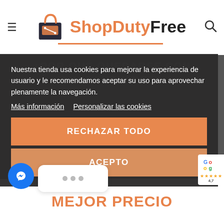[Figure (logo): ShopDutyFree logo with shopping bag icon, orange and dark text, orange underline]
Nuestra tienda usa cookies para mejorar la experiencia de usuario y le recomendamos aceptar su uso para aprovechar plenamente la navegación.
Más información  Personalizar las cookies
RECHAZAR TODO
ACEPTO
MEJOR PRECIO